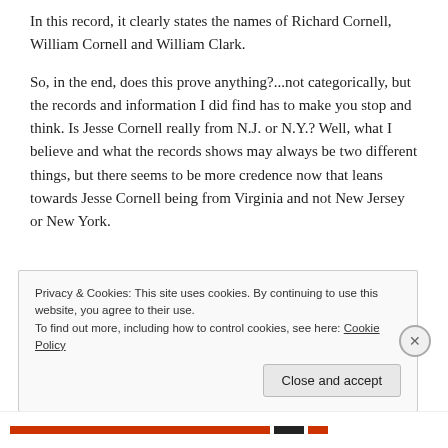In this record, it clearly states the names of Richard Cornell, William Cornell and William Clark.
So, in the end, does this prove anything?...not categorically, but the records and information I did find has to make you stop and think.  Is Jesse Cornell really from N.J. or N.Y.? Well, what I believe and what the records shows may always be two different things, but there seems to be more credence now that leans towards Jesse Cornell being from Virginia and not New Jersey or New York.
Privacy & Cookies: This site uses cookies. By continuing to use this website, you agree to their use.
To find out more, including how to control cookies, see here: Cookie Policy